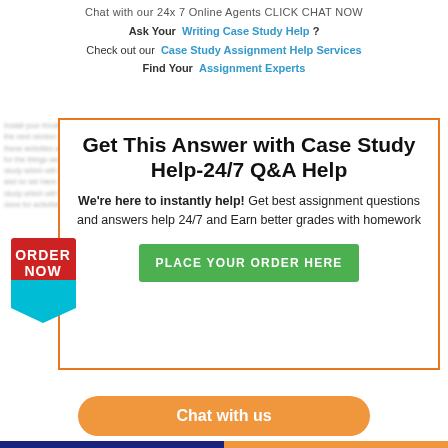Chat with our 24x 7 Online Agents CLICK CHAT NOW
Ask Your  Writing Case Study Help ?
Check out our  Case Study Assignment Help Services
Find Your  Assignment Experts
[Figure (infographic): Modal box with orange border containing: title 'Get This Answer with Case Study Help-24/7 Q&A Help', body text 'We're here to instantly help! Get best assignment questions and answers help 24/7 and Earn better grades with homework', green button 'PLACE YOUR ORDER HERE', and a red/cyan ORDER NOW badge on the left side.]
Chat with us